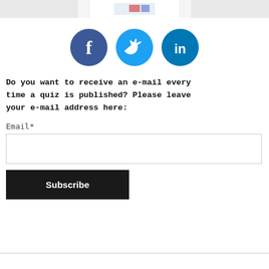[Figure (photo): Partial photo at top of page showing a person in a white outfit with colorful accents, cropped at the bottom of the image]
[Figure (infographic): Three social media icon circles: Facebook (dark blue with 'f'), Twitter (light blue with bird icon), LinkedIn (teal with 'in')]
Do you want to receive an e-mail every time a quiz is published? Please leave your e-mail address here:
Email*
[Figure (other): Email input text field (empty)]
[Figure (other): Subscribe button (black background, white text)]